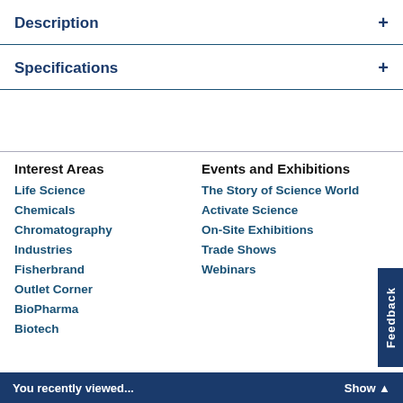Description
Specifications
Interest Areas
Life Science
Chemicals
Chromatography
Industries
Fisherbrand
Outlet Corner
BioPharma
Biotech
Events and Exhibitions
The Story of Science World
Activate Science
On-Site Exhibitions
Trade Shows
Webinars
You recently viewed...   Show